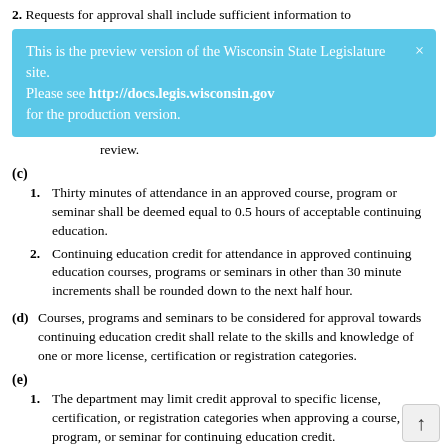2. Requests for approval shall include sufficient information to
[Figure (screenshot): Preview banner: 'This is the preview version of the Wisconsin State Legislature site. Please see http://docs.legis.wisconsin.gov for the production version.']
review.
(c)
1. Thirty minutes of attendance in an approved course, program or seminar shall be deemed equal to 0.5 hours of acceptable continuing education.
2. Continuing education credit for attendance in approved continuing education courses, programs or seminars in other than 30 minute increments shall be rounded down to the next half hour.
(d) Courses, programs and seminars to be considered for approval towards continuing education credit shall relate to the skills and knowledge of one or more license, certification or registration categories.
(e)
1. The department may limit credit approval to specific license, certification, or registration categories when approving a course, program, or seminar for continuing education credit.